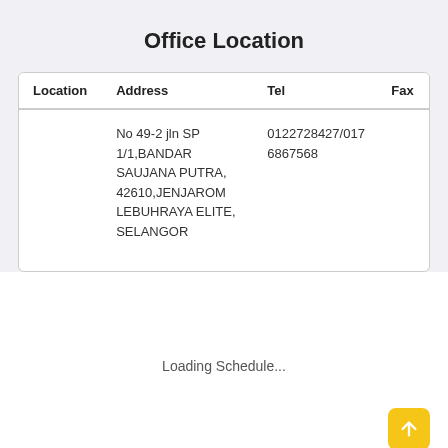Office Location
| Location | Address | Tel | Fax |
| --- | --- | --- | --- |
|  | No 49-2 jln SP 1/1,BANDAR SAUJANA PUTRA, 42610,JENJAROM LEBUHRAYA ELITE, SELANGOR | 0122728427/017 6867568 |  |
Loading Schedule...